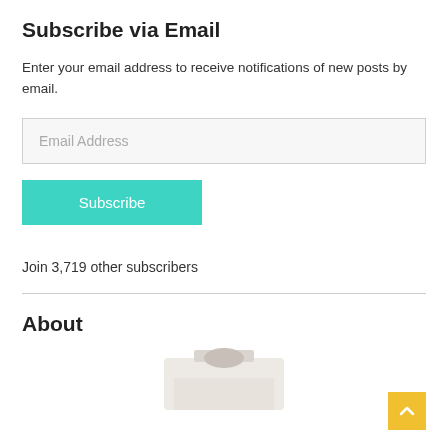Subscribe via Email
Enter your email address to receive notifications of new posts by email.
Email Address
Subscribe
Join 3,719 other subscribers
About
[Figure (photo): Partial photo visible at bottom of page, appears to be a person or object, cut off at page edge]